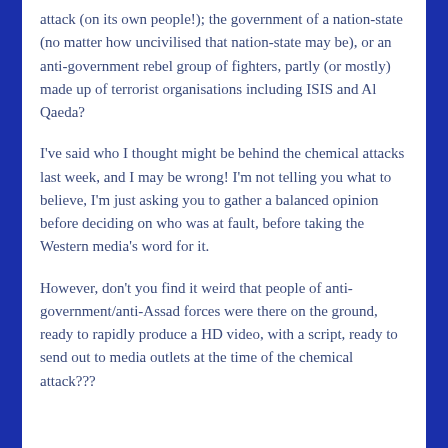attack (on its own people!); the government of a nation-state (no matter how uncivilised that nation-state may be), or an anti-government rebel group of fighters, partly (or mostly) made up of terrorist organisations including ISIS and Al Qaeda?
I've said who I thought might be behind the chemical attacks last week, and I may be wrong! I'm not telling you what to believe, I'm just asking you to gather a balanced opinion before deciding on who was at fault, before taking the Western media's word for it.
However, don't you find it weird that people of anti-government/anti-Assad forces were there on the ground, ready to rapidly produce a HD video, with a script, ready to send out to media outlets at the time of the chemical attack???